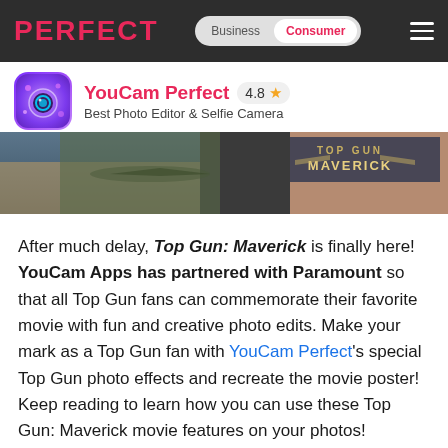PERFECT — Business | Consumer
YouCam Perfect 4.8 ★ Best Photo Editor & Selfie Camera
[Figure (photo): Banner image showing Top Gun: Maverick movie promotional imagery with military and film visuals]
After much delay, Top Gun: Maverick is finally here! YouCam Apps has partnered with Paramount so that all Top Gun fans can commemorate their favorite movie with fun and creative photo edits. Make your mark as a Top Gun fan with YouCam Perfect's special Top Gun photo effects and recreate the movie poster! Keep reading to learn how you can use these Top Gun: Maverick movie features on your photos!